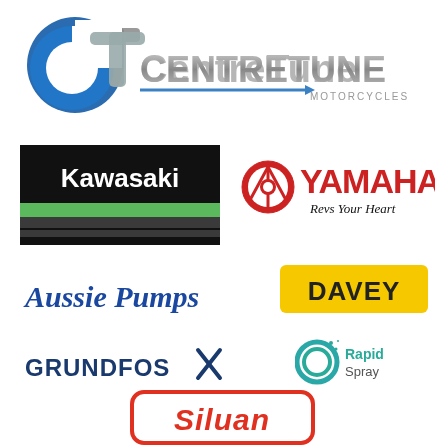[Figure (logo): Centre Tune Motorcycles logo - blue and grey CT emblem with stylized text CENTRETUNE MOTORCYCLES]
[Figure (logo): Kawasaki logo - white text on black background with green stripe]
[Figure (logo): Yamaha logo - red tuning fork emblem with YAMAHA in red and Revs Your Heart tagline in black]
[Figure (logo): Aussie Pumps logo - blue italic script text]
[Figure (logo): Davey logo - bold text on yellow rounded rectangle background]
[Figure (logo): Grundfos logo - dark blue bold text with X mark]
[Figure (logo): Rapid Spray logo - teal G emblem with Rapid Spray text]
[Figure (logo): Siluan logo - italic white text in red rounded rectangle border]